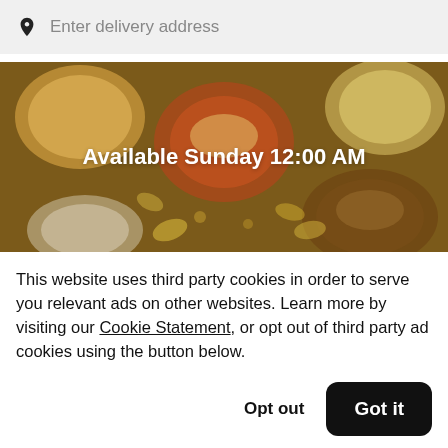Enter delivery address
[Figure (photo): Overhead view of various food dishes and bowls with text overlay: Available Sunday 12:00 AM]
This website uses third party cookies in order to serve you relevant ads on other websites. Learn more by visiting our Cookie Statement, or opt out of third party ad cookies using the button below.
Opt out
Got it